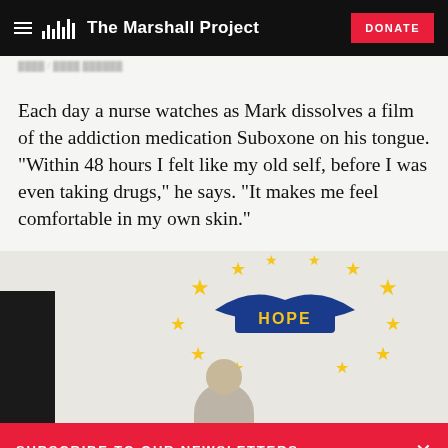The Marshall Project | DONATE
Each day a nurse watches as Mark dissolves a film of the addiction medication Suboxone on his tongue. “Within 48 hours I felt like my old self, before I was even taking drugs,” he says. “It makes me feel comfortable in my own skin.”
[Figure (photo): Person standing in front of a wall with a colorful HOPE sign with yellow stars and a blue bird/wings graphic]
SUBSCRIBE TO OUR NEWSLETTERS